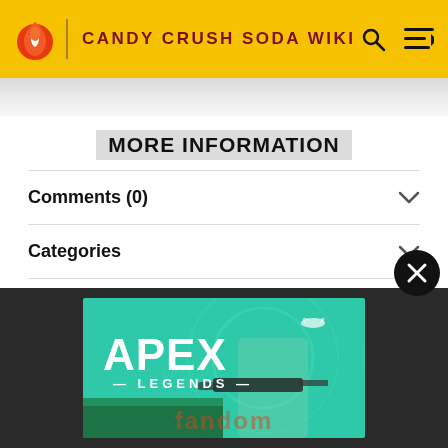CANDY CRUSH SODA WIKI
MORE INFORMATION
Comments (0)
Categories
Community content is available under CC-BY-SA unless otherwise noted.
[Figure (illustration): Apex Legends advertisement banner showing a character with a sniper rifle on a teal background with game logo]